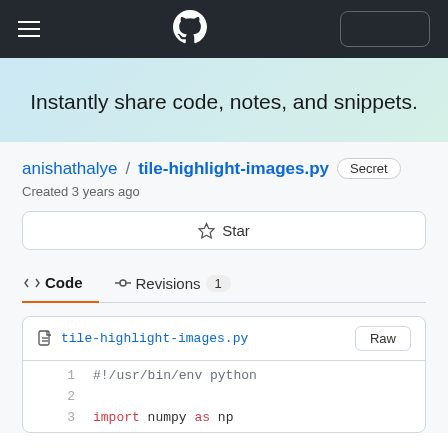GitHub Gist navigation bar
Instantly share code, notes, and snippets.
anishathalye / tile-highlight-images.py  Secret
Created 3 years ago
☆ Star
<> Code   -o- Revisions  1
tile-highlight-images.py   Raw
1  #!/usr/bin/env python
2
3  import numpy as np